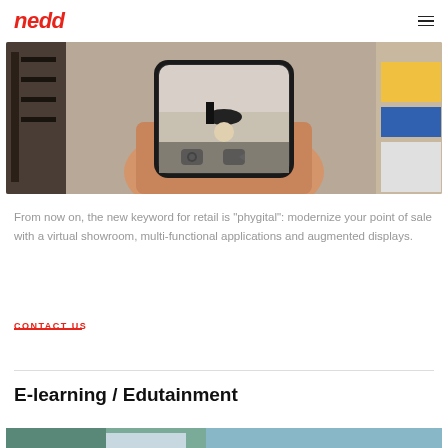nedd
[Figure (photo): A hand holding a smartphone showing a person's feet near a ball on a floor. The phone camera UI shows camera and video icons. Background shows a retail or gym space.]
From now on, the new keyword for retail is "phygital": modernize your point of sale with a virtual showroom, multi-functional applications and augmented displays.
CONTACT US
E-learning / Edutainment
[Figure (photo): Partial bottom image, cropped, appears to be another photo related to e-learning/edutainment content.]